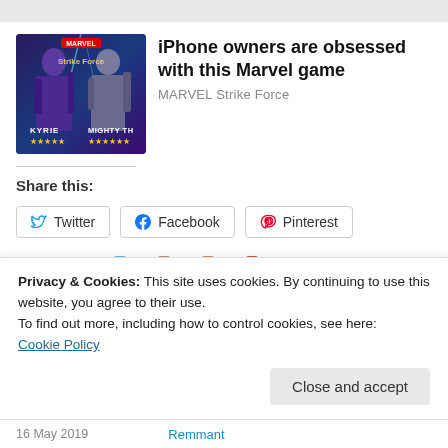[Figure (screenshot): Advertisement for MARVEL Strike Force game showing characters Valkyrie and Mighty Thor with star ratings]
iPhone owners are obsessed with this Marvel game
MARVEL Strike Force
Share this:
Twitter  Facebook  Pinterest
[Figure (other): Like button with user avatars]
Privacy & Cookies: This site uses cookies. By continuing to use this website, you agree to their use.
To find out more, including how to control cookies, see here:
Cookie Policy
Close and accept
16 May 2019    Remmant